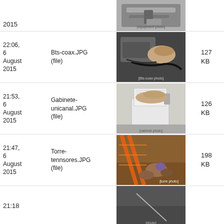[Figure (photo): Close-up of metal equipment/mounting hardware outdoors]
2015
[Figure (photo): Person connecting coaxial cable to outdoor equipment]
22:06, 6 August 2015
Bts-coax.JPG (file)
127 KB
[Figure (photo): Person's hand on white enclosure/cabinet with metal bracket outdoors]
21:53, 6 August 2015
Gabinete-unicanal.JPG (file)
126 KB
[Figure (photo): Orange netting/fencing with rocks and debris in dirt]
21:47, 6 August 2015
Torre-tennsores.JPG (file)
198 KB
[Figure (photo): Partially visible photo at bottom of page]
21:18